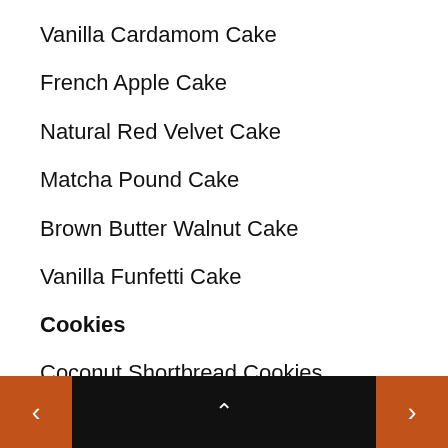Vanilla Cardamom Cake
French Apple Cake
Natural Red Velvet Cake
Matcha Pound Cake
Brown Butter Walnut Cake
Vanilla Funfetti Cake
Cookies
Coconut Shortbread Cookies
Salted Chocolate Chip Cookies (partial)
< ^ >